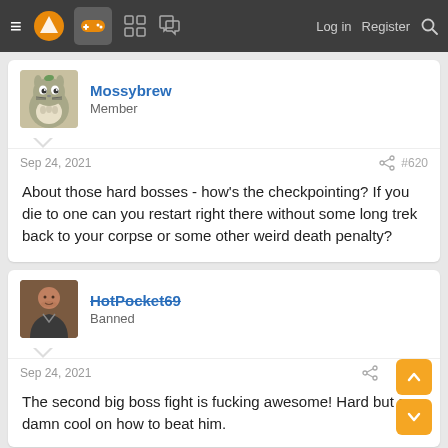Navigation bar with menu, logo, gamepad icon, grid icon, chat icon, Log in, Register, Search
Mossybrew
Member
Sep 24, 2021  #620
About those hard bosses - how's the checkpointing? If you die to one can you restart right there without some long trek back to your corpse or some other weird death penalty?
HotPocket69
Banned
Sep 24, 2021
The second big boss fight is fucking awesome! Hard but so damn cool on how to beat him.